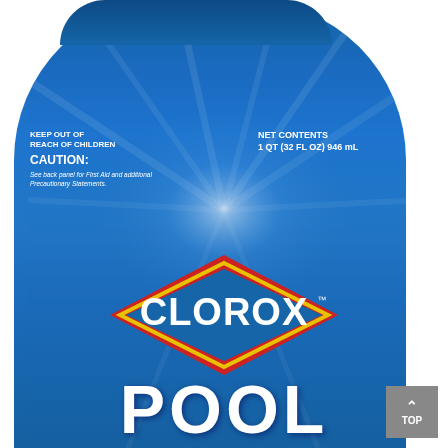[Figure (photo): Clorox Pool product bottle in blue with Clorox diamond logo. Label shows KEEP OUT OF REACH OF CHILDREN, CAUTION warning text on left, NET CONTENTS 1 QT (32 FL OZ) 946 mL on right, large CLOROX diamond logo in center, and POOL text at bottom.]
KEEP OUT OF REACH OF CHILDREN CAUTION: See back panel for First Aid and additional Precautionary Statements.
NET CONTENTS 1 QT (32 FL OZ) 946 mL